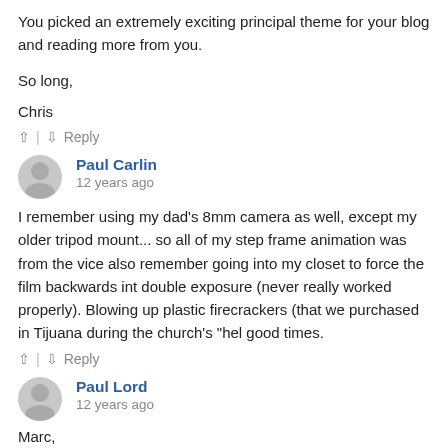You picked an extremely exciting principal theme for your blog and reading more from you.
So long,
Chris
^ | v   Reply
Paul Carlin
12 years ago
I remember using my dad's 8mm camera as well, except my older tripod mount... so all of my step frame animation was from the vice also remember going into my closet to force the film backwards int double exposure (never really worked properly). Blowing up plastic firecrackers (that we purchased in Tijuana during the church's "hel good times.
^ | v   Reply
Paul Lord
12 years ago
Marc,